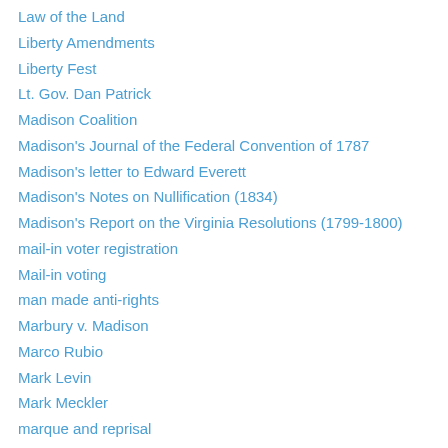Law of the Land
Liberty Amendments
Liberty Fest
Lt. Gov. Dan Patrick
Madison Coalition
Madison's Journal of the Federal Convention of 1787
Madison's letter to Edward Everett
Madison's Notes on Nullification (1834)
Madison's Report on the Virginia Resolutions (1799-1800)
mail-in voter registration
Mail-in voting
man made anti-rights
Marbury v. Madison
Marco Rubio
Mark Levin
Mark Meckler
marque and reprisal
Marriage
Marriage Amendment
Martin Luther King